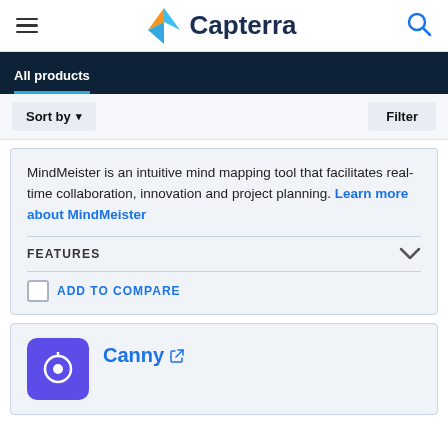Capterra
All products
Sort by ▾    Filter
MindMeister is an intuitive mind mapping tool that facilitates real-time collaboration, innovation and project planning. Learn more about MindMeister
FEATURES
ADD TO COMPARE
Canny